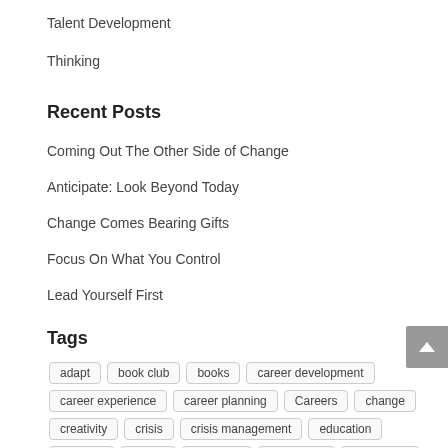Talent Development
Thinking
Recent Posts
Coming Out The Other Side of Change
Anticipate: Look Beyond Today
Change Comes Bearing Gifts
Focus On What You Control
Lead Yourself First
Tags
adapt
book club
books
career development
career experience
career planning
Careers
change
creativity
crisis
crisis management
education
Einstein
Future
influence
innovation
leadership